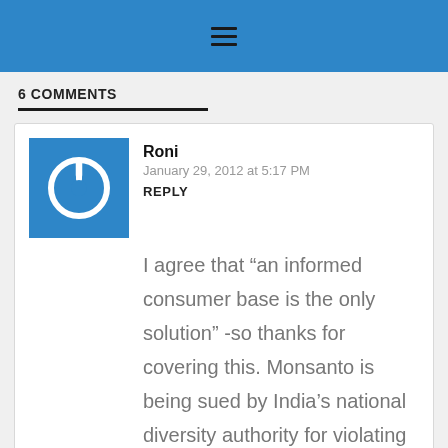≡
6 COMMENTS
Roni
January 29, 2012 at 5:17 PM
REPLY
I agree that “an informed consumer base is the only solution” -so thanks for covering this. Monsanto is being sued by India’s national diversity authority for violating biodiversity